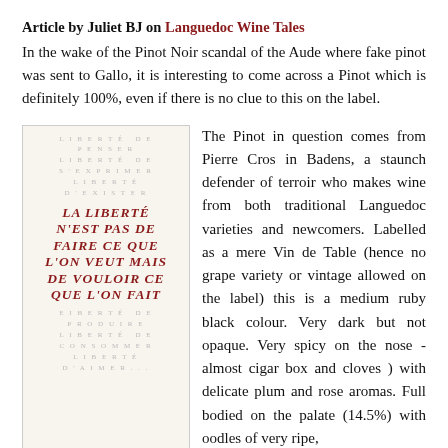Article by Juliet BJ on Languedoc Wine Tales
In the wake of the Pinot Noir scandal of the Aude where fake pinot was sent to Gallo, it is interesting to come across a Pinot which is definitely 100%, even if there is no clue to this on the label.
[Figure (illustration): Wine bottle label with text 'LA LIBERTÉ N'EST PAS DE FAIRE CE QUE L'ON VEUT MAIS DE VOULOIR CE QUE L'ON FAIT' in dark red on a cream background, surrounded by lighter repeated text about liberty.]
The Pinot in question comes from Pierre Cros in Badens, a staunch defender of terroir who makes wine from both traditional Languedoc varieties and newcomers. Labelled as a mere Vin de Table (hence no grape variety or vintage allowed on the label) this is a medium ruby black colour. Very dark but not opaque. Very spicy on the nose - almost cigar box and cloves ) with delicate plum and rose aromas. Full bodied on the palate (14.5%) with oodles of very ripe, creamy plum fruit with hints of spice - cloves again. The tannins are very ripe and smooth and the oak is well integrated. Good long finish. Only criticism is that the alcohol is a touch high for my tastes